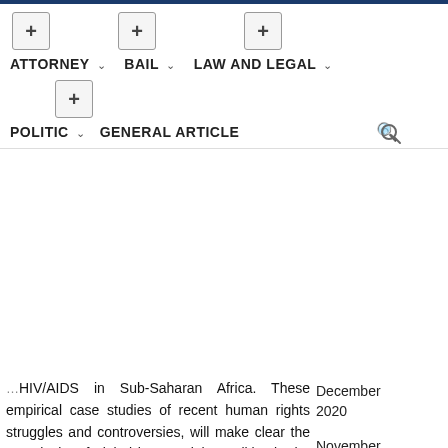ATTORNEY | BAIL | LAW AND LEGAL | POLITIC | GENERAL ARTICLE
HIV/AIDS in Sub-Saharan Africa. These empirical case studies of recent human rights struggles and controversies, will make clear the complexity of global human rights politics in the early 21st century.
Emory & Henry College's division of politics, legislation and international relations has been ranked as top-of-the-line in the nation in accordance with the Schools.com Ranking of Political Science. Justin Hoover '08 , a political science and historical past double-major, exhibits why the Supreme Court's
December 2020
November 2020
October 2020
September 2020
August 2020
July 2020
June 2020